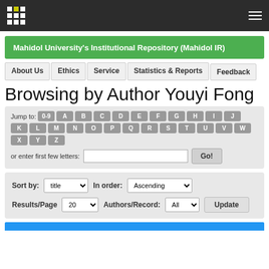Mahidol University's Institutional Repository (Mahidol IR)
Browsing by Author Youyi Fong
Jump to: 0-9 A B C D E F G H I J K L M N O P Q R S T U V W X Y Z or enter first few letters: Go!
Sort by: title In order: Ascending Results/Page 20 Authors/Record: All Update